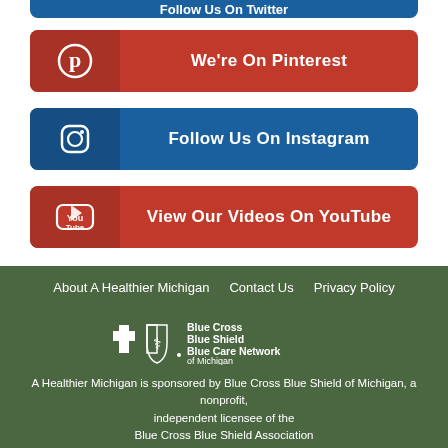[Figure (infographic): Pinterest social media button - red bar with Pinterest icon and text 'We're On Pinterest']
[Figure (infographic): Instagram social media button - blue bar with Instagram icon and text 'Follow Us On Instagram']
[Figure (infographic): YouTube social media button - red bar with YouTube icon and text 'View Our Videos On YouTube']
About A Healthier Michigan   Contact Us   Privacy Policy
[Figure (logo): Blue Cross Blue Shield Blue Care Network of Michigan logo]
A Healthier Michigan is sponsored by Blue Cross Blue Shield of Michigan, a nonprofit, independent licensee of the Blue Cross Blue Shield Association
No Personal Healthcare Advice or Other Advice